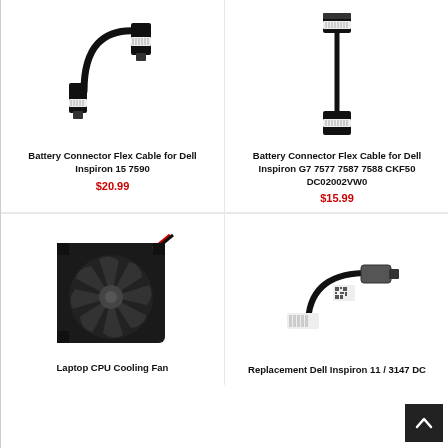[Figure (photo): Battery connector flex cable with black connectors on both ends]
Battery Connector Flex Cable for Dell Inspiron 15 7590
$20.99
[Figure (photo): Battery connector flex cable for Dell Inspiron G7, vertical orientation with connectors at top and bottom]
Battery Connector Flex Cable for Dell Inspiron G7 7577 7587 7588 CKF50 DC02002VW0
$15.99
[Figure (photo): Laptop CPU Cooling Fan, black blower-style fan with red and black wires]
Laptop CPU Cooling Fan
[Figure (photo): Replacement Dell Inspiron 11 / 3147 DC power jack with short cable]
Replacement Dell Inspiron 11 / 3147 DC